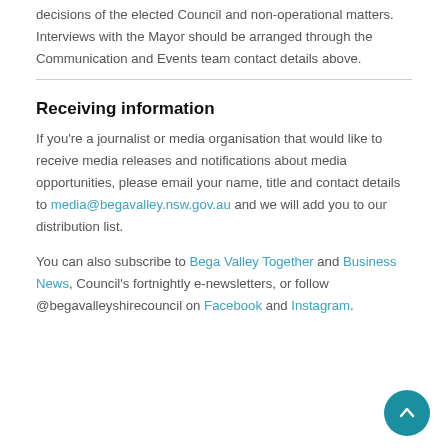decisions of the elected Council and non-operational matters. Interviews with the Mayor should be arranged through the Communication and Events team contact details above.
Receiving information
If you're a journalist or media organisation that would like to receive media releases and notifications about media opportunities, please email your name, title and contact details to media@begavalley.nsw.gov.au and we will add you to our distribution list.
You can also subscribe to Bega Valley Together and Business News, Council's fortnightly e-newsletters, or follow @begavalleyshirecouncil on Facebook and Instagram.